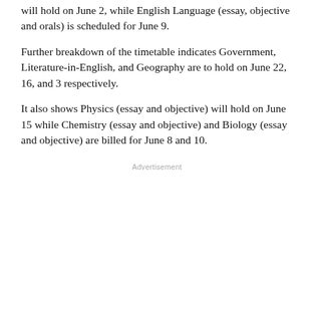will hold on June 2, while English Language (essay, objective and orals) is scheduled for June 9.
Further breakdown of the timetable indicates Government, Literature-in-English, and Geography are to hold on June 22, 16, and 3 respectively.
It also shows Physics (essay and objective) will hold on June 15 while Chemistry (essay and objective) and Biology (essay and objective) are billed for June 8 and 10.
Advertisement